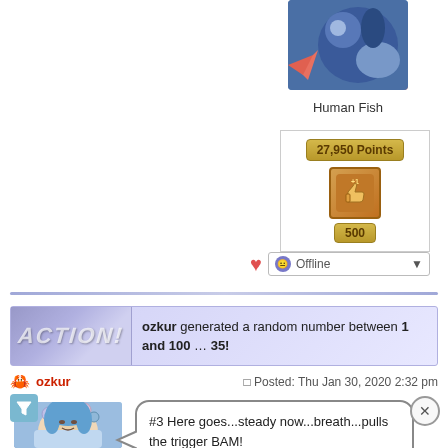[Figure (illustration): Human Fish character illustration - anime style character with blue/pink colors]
Human Fish
[Figure (infographic): 27,950 Points badge with golden thumbs-up icon showing +1 and 500]
Offline
ozkur generated a random number between 1 and 100 ... 35!
Posted: Thu Jan 30, 2020 2:32 pm
ozkur
[Figure (illustration): Anime avatar of blue-haired character with balloons and star decorations]
#3 Here goes...steady now...breath...pulls the trigger BAM!